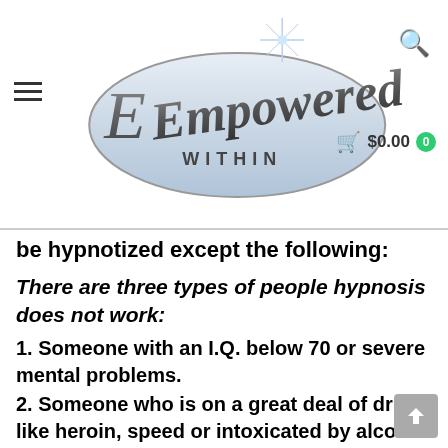[Figure (logo): Empowered Within logo — stylized script 'Empowered' with 'WITHIN' in spaced caps, inside a silver oval, with a starburst accent. Navigation icons: hamburger menu, search, cart showing $0.00 with green badge 0.]
be hypnotized except the following:
There are three types of people hypnosis does not work:
1. Someone with an I.Q. below 70 or severe mental problems.
2. Someone who is on a great deal of drugs like heroin, speed or intoxicated by alcohol
3. Someone that just does not want to be hypnotized. You cannot force anyone to do anything they are not willing to do. If you are willing and you want the changes, then all